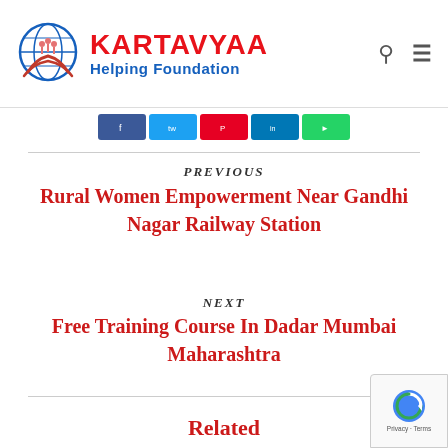KARTAVYAA Helping Foundation
PREVIOUS
Rural Women Empowerment Near Gandhi Nagar Railway Station
NEXT
Free Training Course In Dadar Mumbai Maharashtra
Related